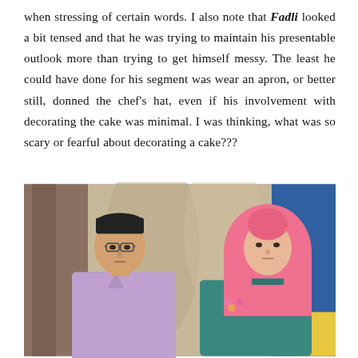when stressing of certain words. I also note that Fadli looked a bit tensed and that he was trying to maintain his presentable outlook more than trying to get himself messy. The least he could have done for his segment was wear an apron, or better still, donned the chef's hat, even if his involvement with decorating the cake was minimal. I was thinking, what was so scary or fearful about decorating a cake???
[Figure (photo): A man wearing glasses, a black kopiah (Muslim cap), and a light purple long-sleeved shirt stands next to a woman wearing a pink hijab and a teal top, both looking forward in what appears to be a TV studio with a blue and beige/brown backdrop.]